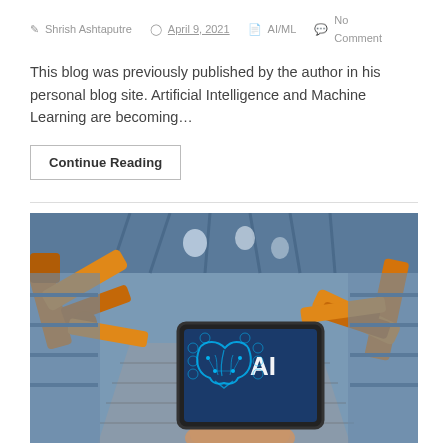Shrish Ashtaputre   April 9, 2021   AI/ML   No Comment
This blog was previously published by the author in his personal blog site. Artificial Intelligence and Machine Learning are becoming...
Continue Reading
[Figure (photo): A person holding a tablet displaying an AI brain graphic in a factory with orange robotic arms on a conveyor belt.]